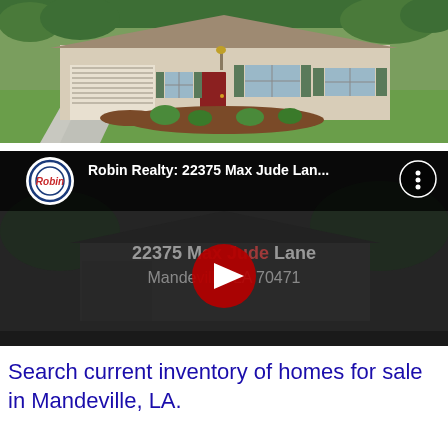[Figure (photo): Exterior photo of a single-story ranch-style home with beige/tan siding, attached two-car garage, red front door, green shutters, manicured landscaping with mulch beds, and a large green lawn. Concrete driveway visible on the left.]
[Figure (screenshot): YouTube video embed thumbnail showing Robin Realty: 22375 Max Jude Lan... with the YouTube play button overlay, a dark-tinted image of the home exterior, and text overlay reading '22375 Max Jude Lane, Mandeville, LA 70471'. Robin Realty logo visible in upper left with a circular design.]
Search current inventory of homes for sale in Mandeville, LA.